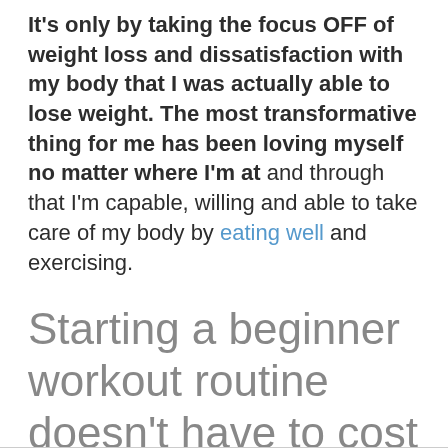It's only by taking the focus OFF of weight loss and dissatisfaction with my body that I was actually able to lose weight. The most transformative thing for me has been loving myself no matter where I'm at and through that I'm capable, willing and able to take care of my body by eating well and exercising.
Starting a beginner workout routine doesn't have to cost anything!